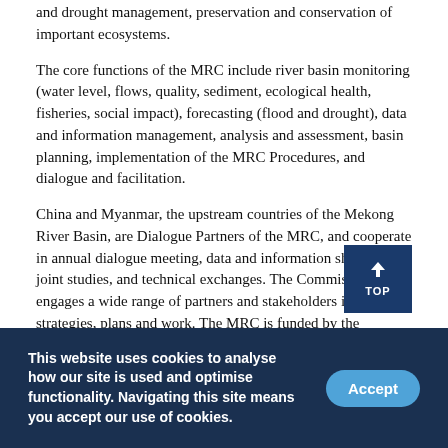and drought management, preservation and conservation of important ecosystems.
The core functions of the MRC include river basin monitoring (water level, flows, quality, sediment, ecological health, fisheries, social impact), forecasting (flood and drought), data and information management, analysis and assessment, basin planning, implementation of the MRC Procedures, and dialogue and facilitation.
China and Myanmar, the upstream countries of the Mekong River Basin, are Dialogue Partners of the MRC, and cooperate in annual dialogue meeting, data and information sharing, joint studies, and technical exchanges. The Commission engages a wide range of partners and stakeholders in its strategies, plans and work. The MRC is funded by the Member Countries and Development Partners.
This website uses cookies to analyse how our site is used and optimise functionality. Navigating this site means you accept our use of cookies.